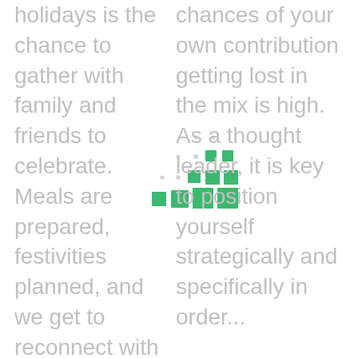holidays is the chance to gather with family and friends to celebrate. Meals are prepared, festivities planned, and we get to reconnect with loved ones. For
[Figure (infographic): A growing grid/matrix of green squares arranged in an increasing staircase pattern, suggesting growth or accumulation over time.]
chances of your own contribution getting lost in the mix is high. As a thought leader, it is key to position yourself strategically and specifically in order...